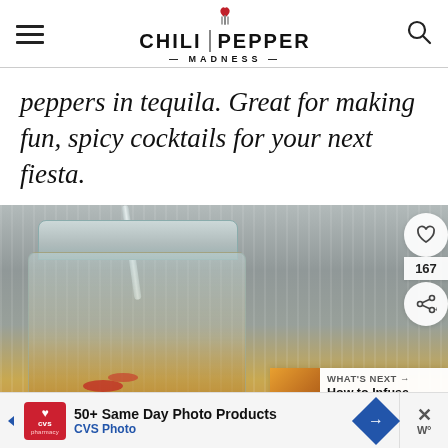Chili Pepper Madness
peppers in tequila. Great for making fun, spicy cocktails for your next fiesta.
[Figure (photo): A mason jar filled with chili pepper infused tequila, with a metal straw, set against a striped grey background. Social interaction buttons (heart, share) on the right side. A 'What's Next' overlay in bottom right shows a thumbnail for 'How to Infuse Alcohol with...']
[Figure (screenshot): Advertisement bar at the bottom: CVS Photo ad reading '50+ Same Day Photo Products' with CVS pharmacy logo, navigation arrows, and a close button with weather icon.]